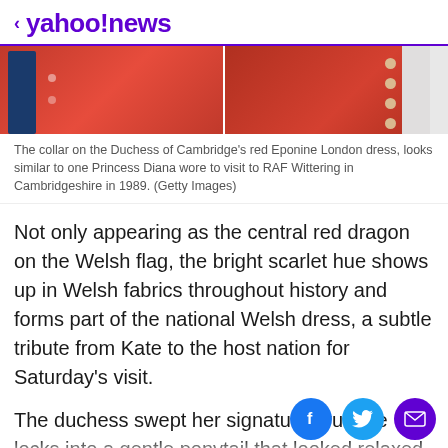< yahoo!news
[Figure (photo): Two side-by-side photos showing red clothing — left photo shows a person in a red coat with a blue-suited figure, right photo shows a red military-style coat with gold buttons, on a light grey background]
The collar on the Duchess of Cambridge's red Eponine London dress, looks similar to one Princess Diana wore to visit to RAF Wittering in Cambridgeshire in 1989. (Getty Images)
Not only appearing as the central red dragon on the Welsh flag, the bright scarlet hue shows up in Welsh fabrics throughout history and forms part of the national Welsh dress, a subtle tribute from Kate to the host nation for Saturday's visit.
The duchess swept her signature brunette locks into a gentle ponytail that looked relaxed compared to the pinned bun at the Trooping the Colour ceremony on